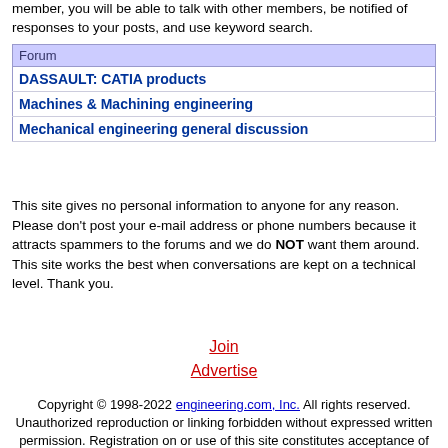member, you will be able to talk with other members, be notified of responses to your posts, and use keyword search.
| Forum |
| --- |
| DASSAULT: CATIA products |
| Machines & Machining engineering |
| Mechanical engineering general discussion |
This site gives no personal information to anyone for any reason. Please don't post your e-mail address or phone numbers because it attracts spammers to the forums and we do NOT want them around. This site works the best when conversations are kept on a technical level. Thank you.
Join
Advertise
Copyright © 1998-2022 engineering.com, Inc. All rights reserved. Unauthorized reproduction or linking forbidden without expressed written permission. Registration on or use of this site constitutes acceptance of our Privacy Policy.
[Figure (logo): engineering.com logo with globe icon]